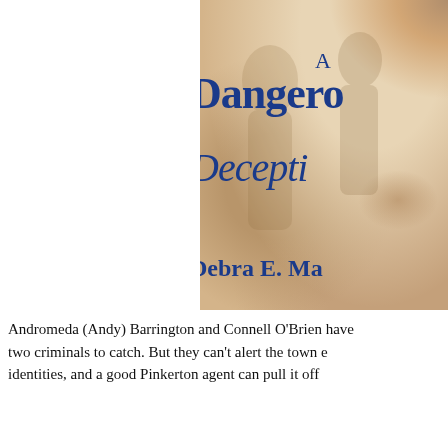[Figure (illustration): Book cover for 'A Dangerous Deception' by Debra E. Ma[rtin?]. The cover shows a textured aged parchment background in beige and tan tones with rust-colored stains/watermarks. Large blue serif text reads 'A' at top, then 'Dangero[us]' in bold, then 'Decept[ion]' in italic script, then 'Debra E. Ma[rtin]' at bottom. A faded figure silhouette is visible in the background.]
Andromeda (Andy) Barrington and Connell O'Brien have two criminals to catch. But they can't alert the town e[veryone about their] identities, and a good Pinkerton agent can pull it off[...]